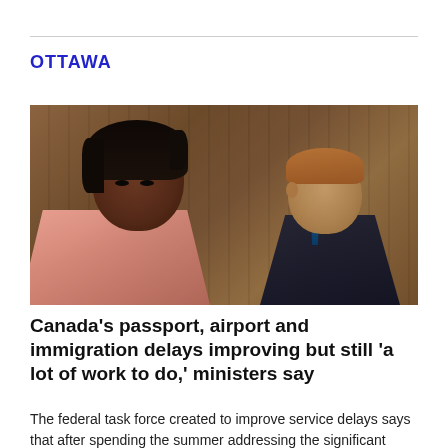OTTAWA
[Figure (photo): Two officials seated at a press conference: a Black woman in a pink blouse in the foreground and a white man in a dark suit in the background, both against a wood-panelled wall.]
Canada's passport, airport and immigration delays improving but still 'a lot of work to do,' ministers say
The federal task force created to improve service delays says that after spending the summer addressing the significant